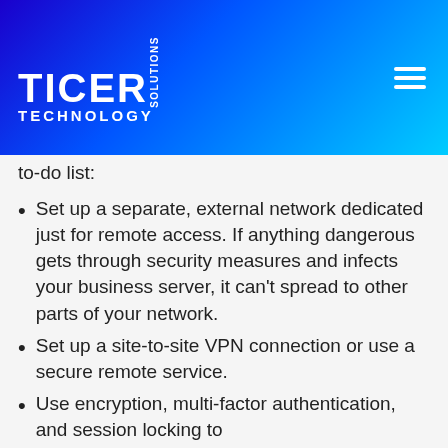TICER SOLUTIONS TECHNOLOGY
to-do list:
Set up a separate, external network dedicated just for remote access. If anything dangerous gets through security measures and infects your business server, it can't spread to other parts of your network.
Set up a site-to-site VPN connection or use a secure remote service.
Use encryption, multi-factor authentication, and session locking to